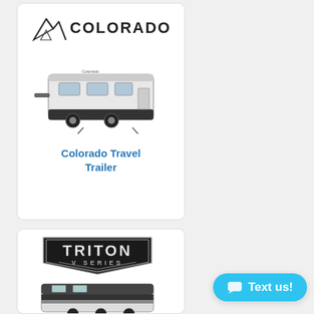[Figure (illustration): Colorado brand logo with mountain peak icon and 'COLORADO' text in bold uppercase letters, followed by an image of a white travel trailer RV]
Colorado Travel Trailer
[Figure (illustration): Triton V Series logo in silver/chrome emblem style, followed by a partial view of a large fifth-wheel RV]
[Figure (illustration): Blue 'Text us!' chat button with speech bubble icon in bottom right corner]